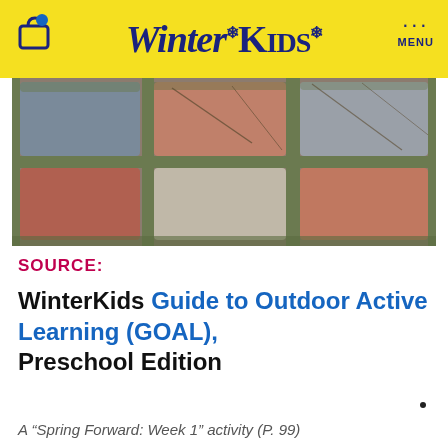WinterKids
[Figure (photo): Overhead view of a colorful brick or paving stone grid pattern — red, grey, and pink stones arranged in a 3×3 grid with grass between the joints]
SOURCE:
WinterKids Guide to Outdoor Active Learning (GOAL), Preschool Edition
A "Spring Forward: Week 1" activity (P. 99)